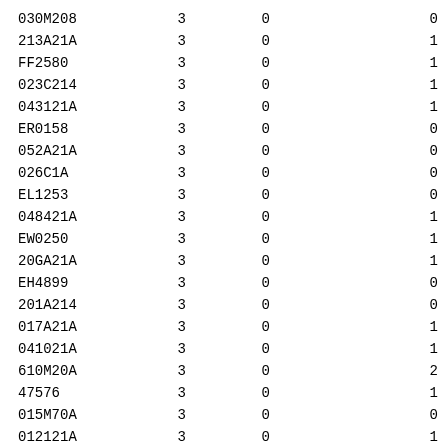| 030M208 | 3 | 0 | 0 |
| 213A21A | 3 | 0 | 1 |
| FF2580 | 3 | 0 | 1 |
| 023C214 | 3 | 0 | 1 |
| 043121A | 3 | 0 | 1 |
| ER0158 | 3 | 0 | 0 |
| 052A21A | 3 | 0 | 0 |
| 026C1A | 3 | 0 | 0 |
| EL1253 | 3 | 0 | 0 |
| 048421A | 3 | 0 | 1 |
| EW0250 | 3 | 0 | 1 |
| 20GA21A | 3 | 0 | 1 |
| EH4899 | 3 | 0 | 0 |
| 201A214 | 3 | 0 | 0 |
| 017A21A | 3 | 0 | 1 |
| 041021A | 3 | 0 | 1 |
| 610M20A | 3 | 0 | 2 |
| 47576 | 3 | 0 | 1 |
| 015M70A | 3 | 0 | 0 |
| 012121A | 3 | 0 | 1 |
| 014M209 | 3 | 0 | 0 |
| 003A20A | 3 | 0 | 1 |
| 020S21A | 3 | 0 | 1 |